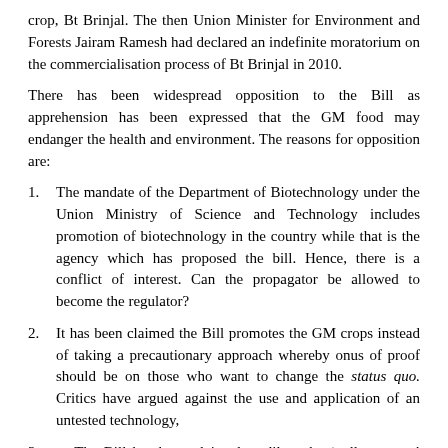crop, Bt Brinjal. The then Union Minister for Environment and Forests Jairam Ramesh had declared an indefinite moratorium on the commercialisation process of Bt Brinjal in 2010.
There has been widespread opposition to the Bill as apprehension has been expressed that the GM food may endanger the health and environment. The reasons for opposition are:
1.    The mandate of the Department of Biotechnology under the Union Ministry of Science and Technology includes promotion of biotechnology in the country while that is the agency which has proposed the bill. Hence, there is a conflict of interest. Can the propagator be allowed to become the regulator?
2.    It has been claimed the Bill promotes the GM crops instead of taking a precautionary approach whereby onus of proof should be on those who want to change the status quo. Critics have argued against the use and application of an untested technology,
3.       The Bill has been claimed to dilute the 'polluter pays' principle i.e. the absolute liability of the promoter for the hazardous activities.
4.    Some State like Madhya Pradesh, Kerala and Karnataka have formally written to the Union Government opposing the current BRAI proposals as the role of the State Governments is limited to giving recommendation without having any decision-making powers on the release of genetically modified